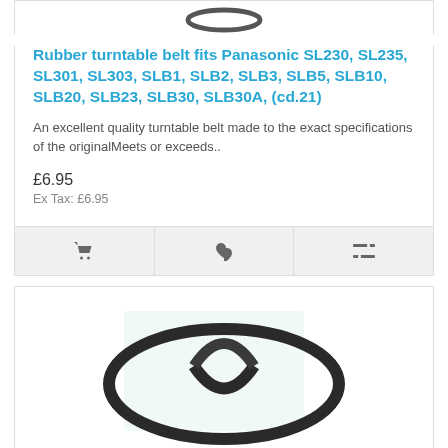[Figure (photo): Top portion of a rubber turntable belt product image, partially cropped at top]
Rubber turntable belt fits Panasonic SL230, SL235, SL301, SL303, SLB1, SLB2, SLB3, SLB5, SLB10, SLB20, SLB23, SLB30, SLB30A, (cd.21)
An excellent quality turntable belt made to the exact specifications of the originalMeets or exceeds..
£6.95
Ex Tax: £6.95
[Figure (photo): Shopping cart icon in action bar]
[Figure (photo): Heart/wishlist icon in action bar]
[Figure (photo): Compare icon in action bar]
[Figure (photo): Second product card showing a rubber turntable belt looped into an oval shape, photographed on white/light green background]